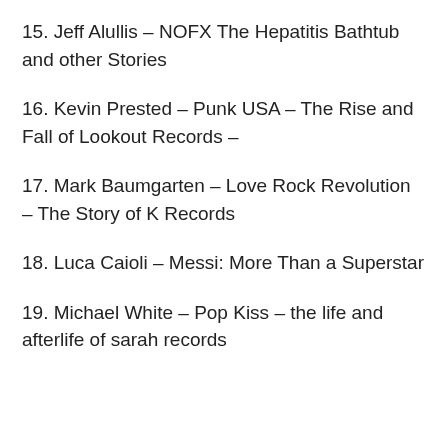15. Jeff Alullis – NOFX The Hepatitis Bathtub and other Stories
16. Kevin Prested – Punk USA – The Rise and Fall of Lookout Records –
17. Mark Baumgarten – Love Rock Revolution – The Story of K Records
18. Luca Caioli – Messi: More Than a Superstar
19. Michael White – Pop Kiss – the life and afterlife of sarah records